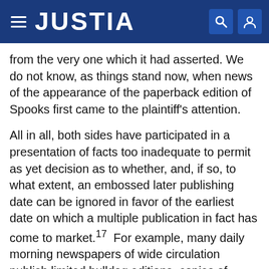JUSTIA
from the very one which it had asserted. We do not know, as things stand now, when news of the appearance of the paperback edition of Spooks first came to the plaintiff's attention.
All in all, both sides have participated in a presentation of facts too inadequate to permit as yet decision as to whether, and, if so, to what extent, an embossed later publishing date can be ignored in favor of the earliest date on which a multiple publication in fact has come to market.17  For example, many daily morning newspapers of wide circulation publish limited bulldog editions, copies of which appear on the streets and are sold prior to midnight and, therefore, on the day before the date set out in the masthead. It seems in those circumstances unlikely that the customary one year statute of limitations for defamation will automatically